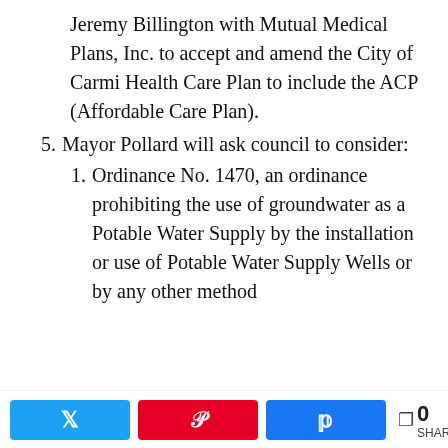Jeremy Billington with Mutual Medical Plans, Inc. to accept and amend the City of Carmi Health Care Plan to include the ACP (Affordable Care Plan).
5. Mayor Pollard will ask council to consider:
1. Ordinance No. 1470, an ordinance prohibiting the use of groundwater as a Potable Water Supply by the installation or use of Potable Water Supply Wells or by any other method
< 0 SHARES [Twitter] [Pinterest] [Facebook]